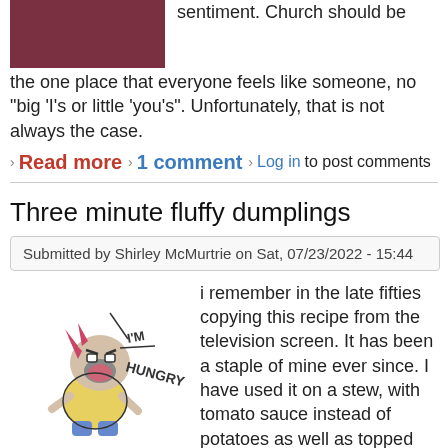[Figure (photo): Partial image, dark reddish-pink colored photo cropped at top]
sentiment. Church should be the one place that everyone feels like someone, no "big 'I's or little 'you's". Unfortunately, that is not always the case.
Read more · 1 comment · Log in to post comments
Three minute fluffy dumplings
Submitted by Shirley McMurtrie on Sat, 07/23/2022 - 15:44
[Figure (illustration): Cartoon drawing of an angry character yelling 'I'M HUNGRY']
i remember in the late fifties copying this recipe from the television screen. It has been a staple of mine ever since. I have used it on a stew, with tomato sauce instead of potatoes as well as topped with chicken gravy